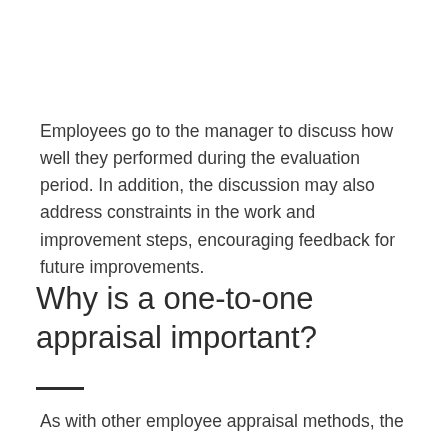Employees go to the manager to discuss how well they performed during the evaluation period. In addition, the discussion may also address constraints in the work and improvement steps, encouraging feedback for future improvements.
Why is a one-to-one appraisal important?
As with other employee appraisal methods, the one-to-one appraisal is important for evaluating...